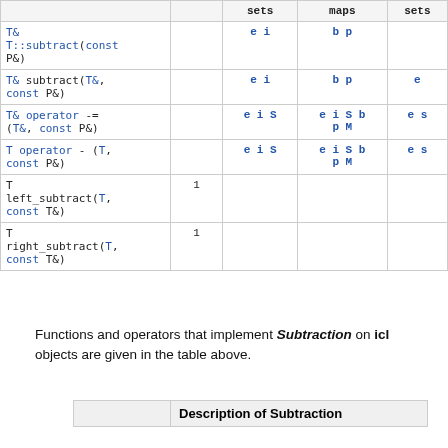|  |  | sets | maps | sets |
| --- | --- | --- | --- | --- |
| T&
T::subtract(const P&) |  | e i | b p |  |
| T& subtract(T&, const P&) |  | e i | b p | e |
| T& operator -= (T&, const P&) |  | e i S | e i S b p M | e s |
| T operator - (T, const P&) |  | e i S | e i S b p M | e s |
| T
left_subtract(T, const T&) | 1 |  |  |  |
| T
right_subtract(T, const T&) | 1 |  |  |  |
Functions and operators that implement Subtraction on icl objects are given in the table above.
|  | Description of Subtraction |
| --- | --- |